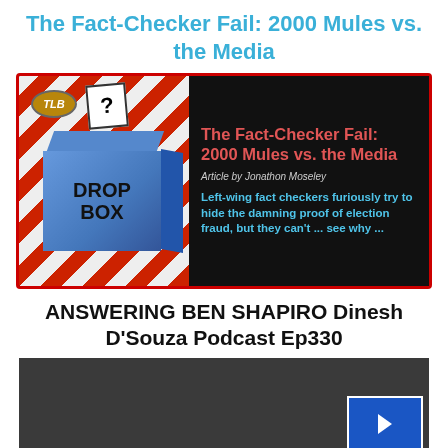The Fact-Checker Fail: 2000 Mules vs. the Media
[Figure (illustration): Promotional banner image with a blue ballot drop box and text: The Fact-Checker Fail: 2000 Mules vs. the Media. Article by Jonathon Moseley. Left-wing fact checkers furiously try to hide the damning proof of election fraud, but they can't ... see why ...]
ANSWERING BEN SHAPIRO Dinesh D'Souza Podcast Ep330
[Figure (screenshot): Dark video embed placeholder with a blue play button overlay in the bottom right corner. Privacy - Terms text visible.]